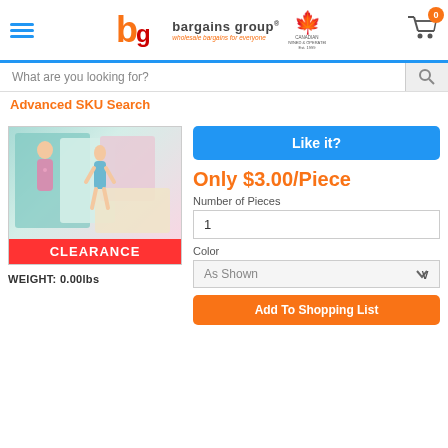[Figure (logo): Bargains Group logo with maple leaf and text 'bargains group - wholesale bargains for everyone' and 'Canadian Owned & Operated Since 1999']
What are you looking for?
Advanced SKU Search
[Figure (photo): Paper doll book/kit showing illustrated female figures in various outfits, with a CLEARANCE label at the bottom]
WEIGHT: 0.00lbs
Like it?
Only $3.00/Piece
Number of Pieces
1
Color
As Shown